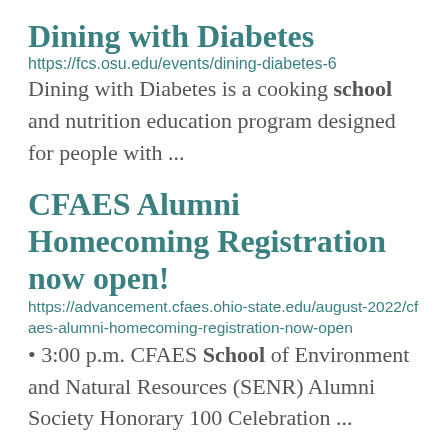Dining with Diabetes
https://fcs.osu.edu/events/dining-diabetes-6
Dining with Diabetes is a cooking school and nutrition education program designed for people with ...
CFAES Alumni Homecoming Registration now open!
https://advancement.cfaes.ohio-state.edu/august-2022/cfaes-alumni-homecoming-registration-now-open
3:00 p.m. CFAES School of Environment and Natural Resources (SENR) Alumni Society Honorary 100 Celebration ...